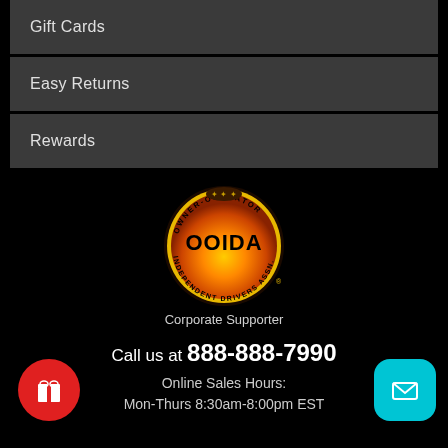Gift Cards
Easy Returns
Rewards
[Figure (logo): OOIDA Owner-Operator Independent Drivers Association circular logo with orange gradient background]
Corporate Supporter
Call us at 888-888-7990
Online Sales Hours:
Mon-Thurs 8:30am-8:00pm EST